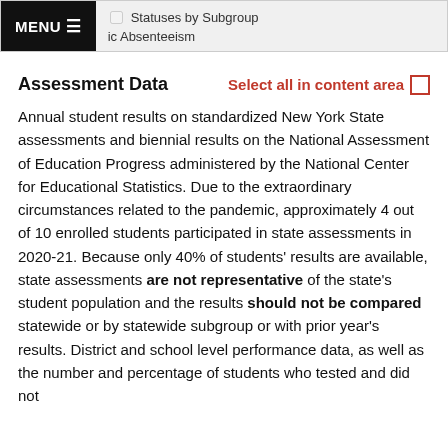Statuses by Subgroup | Chronic Absenteeism
Assessment Data    Select all in content area
Annual student results on standardized New York State assessments and biennial results on the National Assessment of Education Progress administered by the National Center for Educational Statistics. Due to the extraordinary circumstances related to the pandemic, approximately 4 out of 10 enrolled students participated in state assessments in 2020-21. Because only 40% of students' results are available, state assessments are not representative of the state's student population and the results should not be compared statewide or by statewide subgroup or with prior year's results. District and school level performance data, as well as the number and percentage of students who tested and did not test, are available for 2020-21. However, school and di…